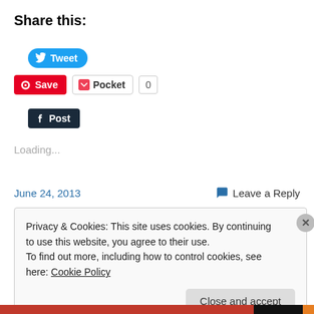Share this:
[Figure (other): Tweet button (blue rounded, Twitter bird icon)]
[Figure (other): Save button (red, Pinterest icon), Pocket button (white, Pocket icon), count badge showing 0]
[Figure (other): Post button (dark navy, Tumblr t icon)]
Loading...
June 24, 2013
Leave a Reply
Privacy & Cookies: This site uses cookies. By continuing to use this website, you agree to their use.
To find out more, including how to control cookies, see here: Cookie Policy
Close and accept